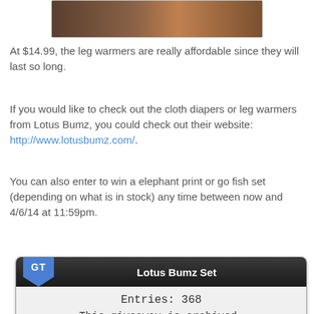[Figure (photo): Partial photo of what appears to be a wooden or brown background, cropped at top of page]
At $14.99, the leg warmers are really affordable since they will last so long.
If you would like to check out the cloth diapers or leg warmers from Lotus Bumz, you could check out their website: http://www.lotusbumz.com/.
You can also enter to win a elephant print or go fish set (depending on what is in stock) any time between now and 4/6/14 at 11:59pm.
[Figure (screenshot): Gleam.io giveaway widget showing 'Lotus Bumz Set' with 368 entries, archived, with Terms & Conditions link and Entry form powered by footer]